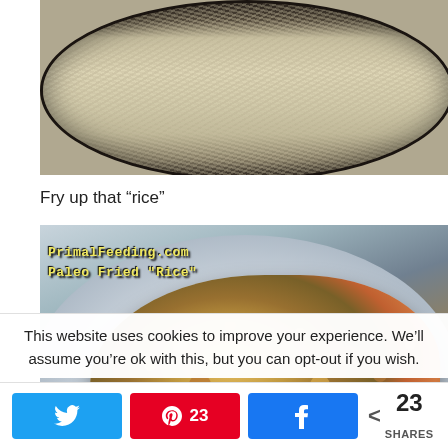[Figure (photo): Close-up photo of cauliflower rice being fried in a dark cast-iron skillet, viewed from above. The rice texture is visible with some yellow egg bits mixed in.]
Fry up that "rice"
[Figure (photo): Close-up photo of a plate of Paleo Fried Rice made with cauliflower, eggs, vegetables and meat on a white ridged plate. Overlay text reads 'PrimalFeeding.com Paleo Fried "Rice"'.]
This website uses cookies to improve your experience. We'll assume you're ok with this, but you can opt-out if you wish.
23 SHARES